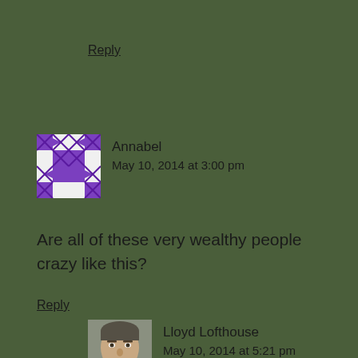Reply
Annabel
May 10, 2014 at 3:00 pm
Are all of these very wealthy people crazy like this?
Reply
Lloyd Lofthouse
May 10, 2014 at 5:21 pm